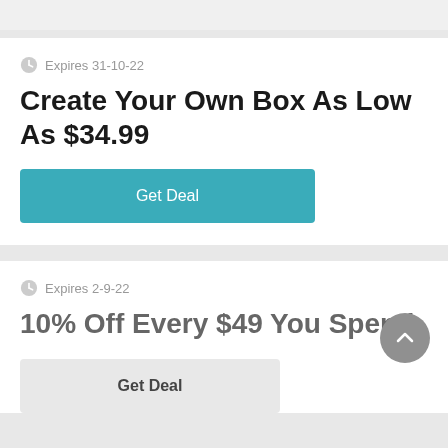Expires 31-10-22
Create Your Own Box As Low As $34.99
Get Deal
Expires 2-9-22
10% Off Every $49 You Spend
Get Deal